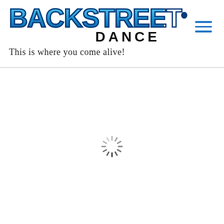[Figure (logo): Backstreet Dance logo with bubble-style blue lettering for BACKSTREET, bold black DANCE text, and cursive tagline 'This is where you come alive!']
[Figure (other): Hamburger menu icon with three blue horizontal lines, top-right corner]
[Figure (other): Loading spinner (radial dashes in a circular pattern) centered in the white content area below the header]